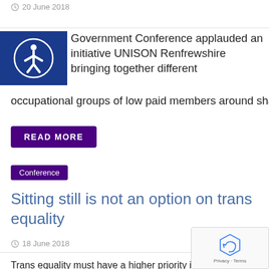20 June 2018
Government Conference applauded an initiative UNISON Renfrewshire bringing together different occupational groups of low paid members around shared
READ MORE
Conference
Sitting still is not an option on trans equality
18 June 2018
Trans equality must have a higher priority in cour other workplaces, as studies show a high level of trans